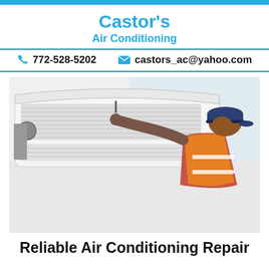Castor's Air Conditioning
📞 772-528-5202   ✉ castors_ac@yahoo.com
[Figure (photo): HVAC technician in orange safety vest and navy cap servicing a wall-mounted mini-split air conditioning unit, reaching into the open unit with a tool.]
Reliable Air Conditioning Repair